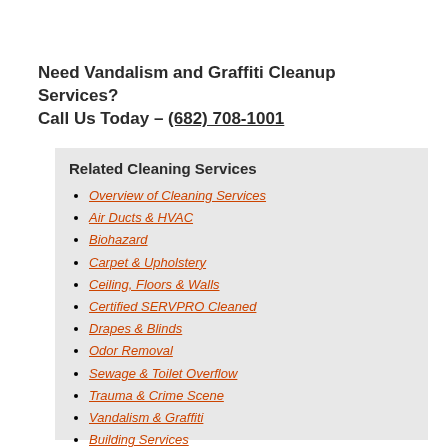Need Vandalism and Graffiti Cleanup Services?
Call Us Today – (682) 708-1001
Related Cleaning Services
Overview of Cleaning Services
Air Ducts & HVAC
Biohazard
Carpet & Upholstery
Ceiling, Floors & Walls
Certified SERVPRO Cleaned
Drapes & Blinds
Odor Removal
Sewage & Toilet Overflow
Trauma & Crime Scene
Vandalism & Graffiti
Building Services
Commercial Cleaning Services